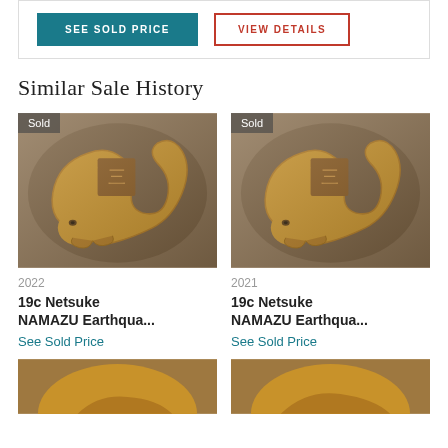SEE SOLD PRICE
VIEW DETAILS
Similar Sale History
[Figure (photo): Photo of 19c Netsuke NAMAZU Earthquake fish sculpture in bronze/copper color, curved serpentine form, with Sold badge overlay, year 2022]
2022
19c Netsuke NAMAZU Earthqua...
See Sold Price
[Figure (photo): Photo of 19c Netsuke NAMAZU Earthquake fish sculpture in bronze/copper color, curved serpentine form, with Sold badge overlay, year 2021]
2021
19c Netsuke NAMAZU Earthqua...
See Sold Price
[Figure (photo): Partially visible photo at bottom left, bronze-toned object]
[Figure (photo): Partially visible photo at bottom right, bronze-toned object]